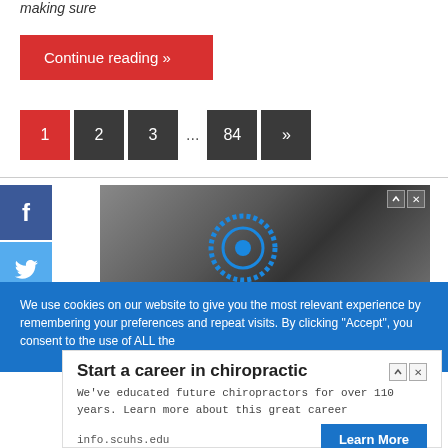making sure
Continue reading »
1  2  3  ...  84  »
[Figure (screenshot): Social media sidebar with Facebook (f) and Twitter (bird) icons, and an advertisement with dark gradient background showing a circular logo icon with ad controls]
We use cookies on our website to give you the most relevant experience by remembering your preferences and repeat visits. By clicking "Accept", you consent to the use of ALL the
[Figure (screenshot): Advertisement for chiropractic career: 'Start a career in chiropractic' with text 'We've educated future chiropractors for over 110 years. Learn more about this great career', url info.scuhs.edu and Learn More button]